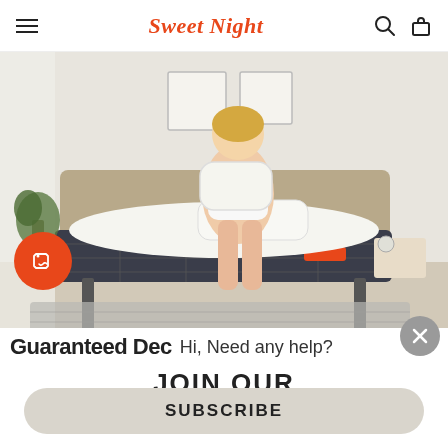Sweet Night
[Figure (photo): Woman sitting on a dark patterned mattress in a bright bedroom setting, holding a pillow, with plants and framed art in the background. An orange price-tag badge is visible at lower left of the image.]
Guaranteed Dec  Hi, Need any help?
JOIN OUR
SUBSCRIBE